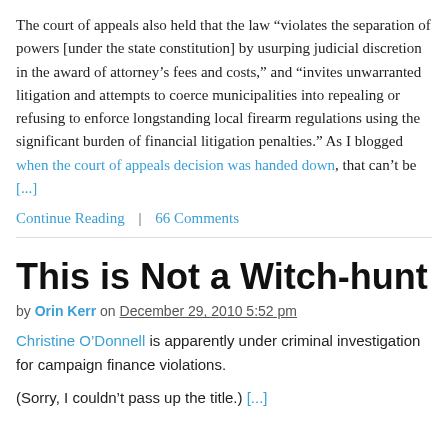The court of appeals also held that the law “violates the separation of powers [under the state constitution] by usurping judicial discretion in the award of attorney’s fees and costs,” and “invites unwarranted litigation and attempts to coerce municipalities into repealing or refusing to enforce longstanding local firearm regulations using the significant burden of financial litigation penalties.” As I blogged when the court of appeals decision was handed down, that can’t be [...]
Continue Reading | 66 Comments
This is Not a Witch-hunt
by Orin Kerr on December 29, 2010 5:52 pm
Christine O’Donnell is apparently under criminal investigation for campaign finance violations.
(Sorry, I couldn’t pass up the title.) [...]